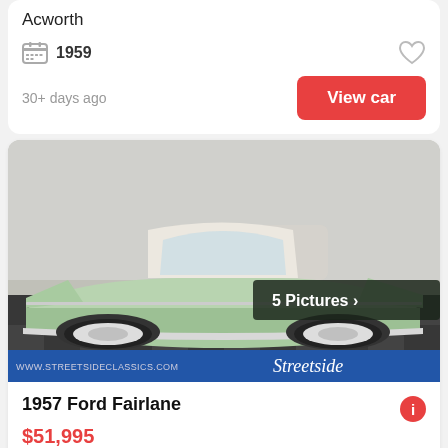Acworth
1959
30+ days ago
View car
[Figure (photo): 1957 Ford Fairlane convertible in mint green and white, parked on checkered floor, with Streetside Classics branding]
5 Pictures
1957 Ford Fairlane
$51,995
Lithia Springs
1957
92,759 Miles